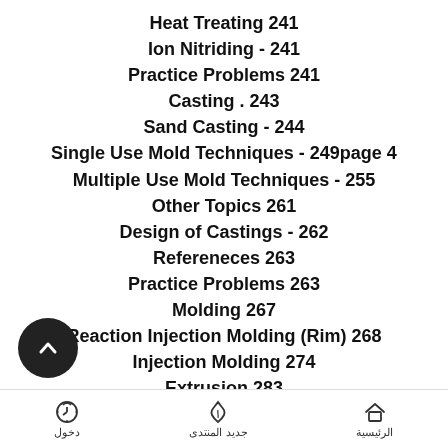Heat Treating 241
Ion Nitriding - 241
Practice Problems 241
Casting . 243
Sand Casting - 244
Single Use Mold Techniques - 249page 4
Multiple Use Mold Techniques - 255
Other Topics 261
Design of Castings - 262
Refereneces 263
Practice Problems 263
Molding 267
Reaction Injection Molding (Rim) 268
Injection Molding 274
Extrusion 283
Practice Problems 285
دخول | جديد المنتدى | الرئيسية